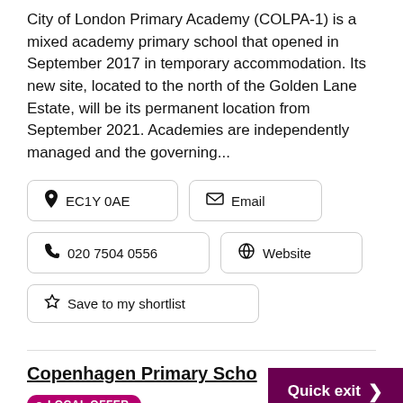City of London Primary Academy (COLPA-1) is a mixed academy primary school that opened in September 2017 in temporary accommodation. Its new site, located to the north of the Golden Lane Estate, will be its permanent location from September 2021. Academies are independently managed and the governing...
EC1Y 0AE
Email
020 7504 0556
Website
Save to my shortlist
Copenhagen Primary Scho...
• LOCAL OFFER
Quick exit >